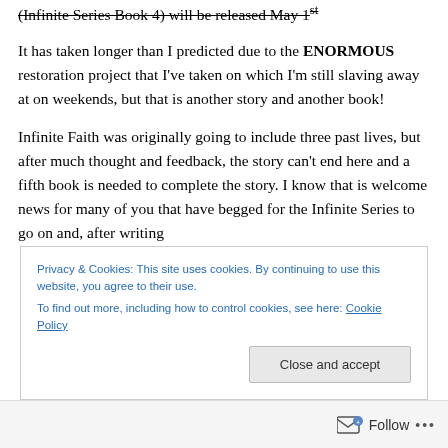(Infinite Series Book 4) will be released May 1st
It has taken longer than I predicted due to the ENORMOUS restoration project that I've taken on which I'm still slaving away at on weekends, but that is another story and another book!
Infinite Faith was originally going to include three past lives, but after much thought and feedback, the story can't end here and a fifth book is needed to complete the story. I know that is welcome news for many of you that have begged for the Infinite Series to go on and, after writing
Privacy & Cookies: This site uses cookies. By continuing to use this website, you agree to their use.
To find out more, including how to control cookies, see here: Cookie Policy
Close and accept
Follow ...